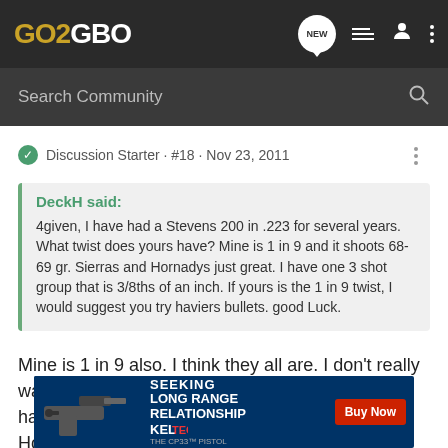GO2GBO
Search Community
Discussion Starter · #18 · Nov 23, 2011
DeckH said:
4given, I have had a Stevens 200 in .223 for several years. What twist does yours have? Mine is 1 in 9 and it shoots 68-69 gr. Sierras and Hornadys just great. I have one 3 shot group that is 3/8ths of an inch. If yours is the 1 in 9 twist, I would suggest you try haviers bullets. good Luck.
Mine is 1 in 9 also. I think they all are. I don't really want to shoot 69 grain bullets in this rifle if I don't have to. I have a Stevens 200 243 that loves 70gr Hornady SXSP flat base.
[Figure (photo): Advertisement banner for Kel-Tec CP33 pistol: 'SEEKING LONG RANGE RELATIONSHIP - Buy Now']